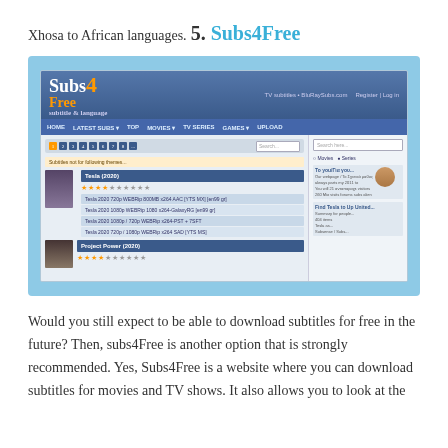Xhosa to African languages.
5. Subs4Free
[Figure (screenshot): Screenshot of the Subs4Free website showing the homepage with logo, navigation bar, movie listings including Tesla (2020), subtitles download links, and a sidebar with search functionality.]
Would you still expect to be able to download subtitles for free in the future? Then, subs4Free is another option that is strongly recommended. Yes, Subs4Free is a website where you can download subtitles for movies and TV shows. It also allows you to look at the